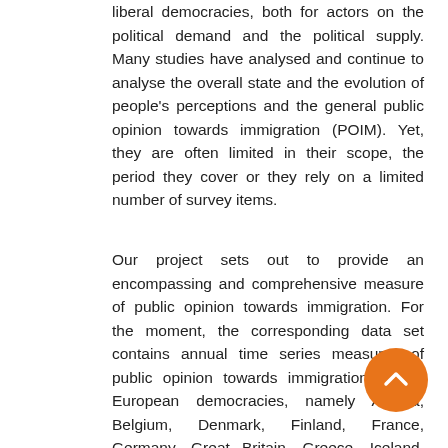liberal democracies, both for actors on the political demand and the political supply. Many studies have analysed and continue to analyse the overall state and the evolution of people's perceptions and the general public opinion towards immigration (POIM). Yet, they are often limited in their scope, the period they cover or they rely on a limited number of survey items.
Our project sets out to provide an encompassing and comprehensive measure of public opinion towards immigration. For the moment, the corresponding data set contains annual time series measures of public opinion towards immigration for 17 European democracies, namely Austria, Belgium, Denmark, Finland, France, Germany, Great Britain, Greece, Iceland, Ireland, Italy, the Netherlands, Norway, Portugal, Spain, Switzerland and Sweden. These measures are based on data from dozens of international and national surveys, comprising hundreds of different variables drawn from thousands of survey margins.